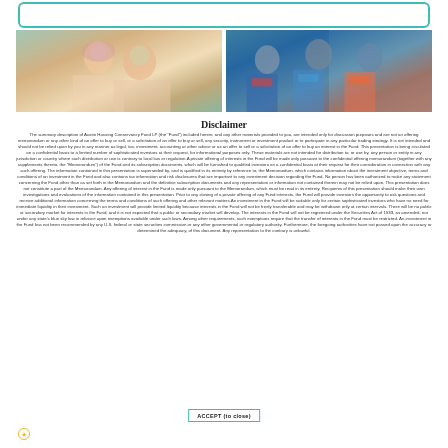[Figure (photo): Two young girls smiling outdoors, with face paint]
[Figure (photo): Group of children with backpacks, some wearing masks]
Disclaimer
The summary description of Austin Housing Conservancy Fund LP (the "Fund") included herein, and any other materials provided to you, are intended only for discussion purposes and are not an offering memorandum or any other kind of an offer to buy or sell, or a solicitation of an offer to buy or sell, any security, instrument or investment product or to participate in any particular trading strategy. It is not intended and should not be relied upon by you in any manner as legal, tax, investment, accounting or other advice or as an offer to sell or a solicitation of an offer to buy an interest in the Fund. This presentation is being circulated on a confidential basis to a limited number of sophisticated investors at their request, for informational purposes only. These materials are not intended for distribution to, or use by, any person or entity in any jurisdiction or country where such distribution or use is contrary to local law or regulation.A private offering of interests in the Fund will be made only pursuant to the confidential offering memorandum (together with any supplements thereto, the "Memorandum") of the Fund and its subscription documents, which will be furnished to qualified investors on a confidential basis at their request for their consideration in connection with any such offering. The information contained in this presentation is superseded by, and is qualified in its entirety by reference to, the Memorandum, which contains information about the investment objective, terms and conditions of an investment in the Fund and also contains tax information and risk disclosures that are important to any investment decision regarding the Fund. No person has been authorized to make any statement concerning the Fund other than as set forth in the Memorandum and the definitive subscription documents and any representation or information not contained therein may not be relied upon. This presentation does not constitute a part of the Memorandum. Any offering of interest in the Fund is made only pursuant to the Memorandum, which must be read in its entirety. Recipients of this presentation should make their own investigations and evaluations of the information contained in this presentation. Prior to any closing of a private offering of any Fund interests, the Fund will provide investors the opportunity to ask questions and receive additional information concerning the terms and conditions of such offering and other relevant matters.An investment in the Fund will be suitable only for certain sophisticated investors who have no need for immediate liquidity in their investment. Such an investment will provide limited liquidity because interests in the Fund will not be freely transferable and may be withdrawn only at certain intervals. There will be no public or secondary market for interests in the Fund, and it is not expected that a public or secondary market will develop. The interests in the Fund will not be registered under the Securities Act of 1933, as amended, nor under any state's blue sky law in reliance upon exemptions available under such laws. Among other requirements, such exemptions require that the transfer of interests in the Fund must be restricted. An investment in the Fund has not been recommended by any U.S. federal or state securities commission or any other governmental or regulatory authority. Furthermore, the foregoing authorities have not passed upon the accuracy or determined the adequacy, of this document. Any representation to the contrary is unlawful.
ACCEPT (to close)